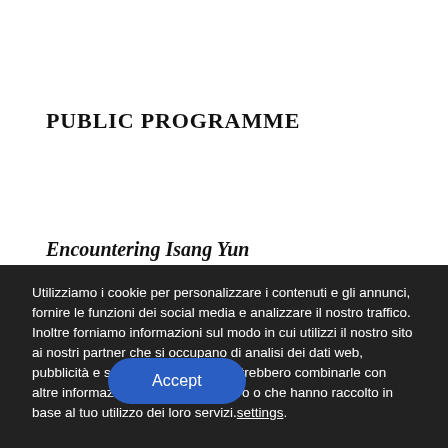PUBLIC PROGRAMME
Encountering Isang Yun
Utilizziamo i cookie per personalizzare i contenuti e gli annunci, fornire le funzioni dei social media e analizzare il nostro traffico. Inoltre forniamo informazioni sul modo in cui utilizzi il nostro sito ai nostri partner che si occupano di analisi dei dati web, pubblicità e social media, i quali potrebbero combinarle con altre informazioni che hai fornito loro o che hanno raccolto in base al tuo utilizzo dei loro servizi.settings.
Accept